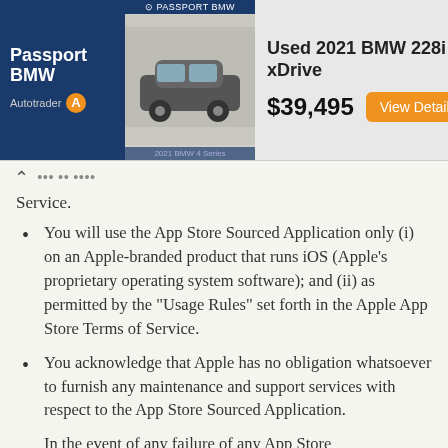[Figure (other): Advertisement banner for Passport BMW on Autotrader showing a Used 2021 BMW 228i xDrive for $39,495 with a View Details button and car images]
Service.
You will use the App Store Sourced Application only (i) on an Apple-branded product that runs iOS (Apple’s proprietary operating system software); and (ii) as permitted by the “Usage Rules” set forth in the Apple App Store Terms of Service.
You acknowledge that Apple has no obligation whatsoever to furnish any maintenance and support services with respect to the App Store Sourced Application.
In the event of any failure of any App Store